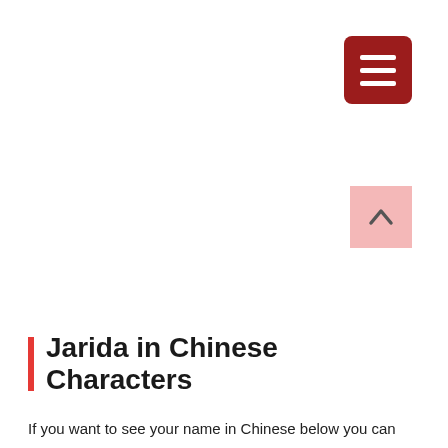[Figure (other): Dark red hamburger menu button in top-right corner with three white horizontal lines]
[Figure (other): Pink scroll-to-top button in right side with upward chevron arrow]
Jarida in Chinese Characters
If you want to see your name in Chinese below you can